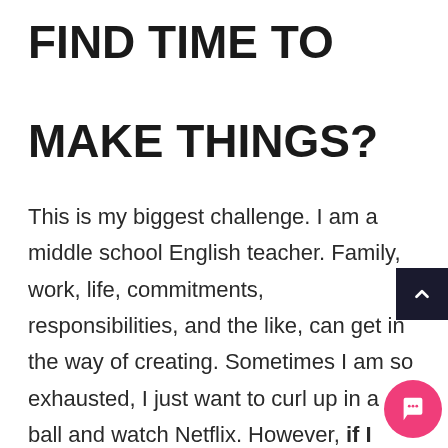FIND TIME TO MAKE THINGS?
This is my biggest challenge. I am a middle school English teacher. Family, work, life, commitments, responsibilities, and the like, can get in the way of creating. Sometimes I am so exhausted, I just want to curl up in a ball and watch Netflix. However, if I don't create daily, I get cranky and am no good at